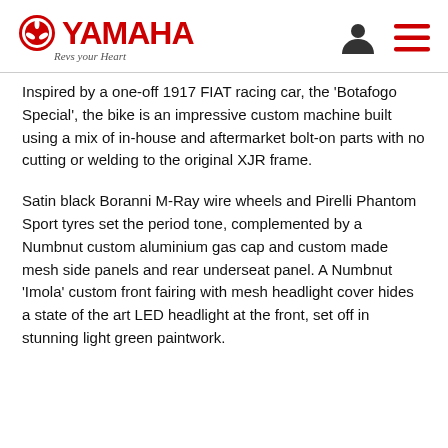YAMAHA — Revs Your Heart
Inspired by a one-off 1917 FIAT racing car, the 'Botafogo Special', the bike is an impressive custom machine built using a mix of in-house and aftermarket bolt-on parts with no cutting or welding to the original XJR frame.
Satin black Boranni M-Ray wire wheels and Pirelli Phantom Sport tyres set the period tone, complemented by a Numbnut custom aluminium gas cap and custom made mesh side panels and rear underseat panel. A Numbnut 'Imola' custom front fairing with mesh headlight cover hides a state of the art LED headlight at the front, set off in stunning light green paintwork.